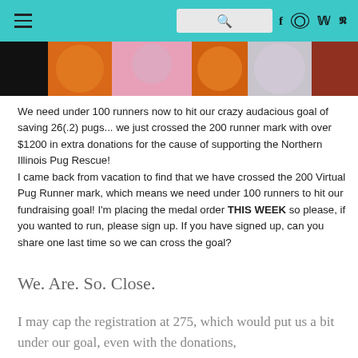≡  [search]  f  ⊙  𝐲  𝐩
[Figure (photo): Partial photo strip showing orange pumpkins, pink fluffy texture, and colorful items on a dark background]
We need under 100 runners now to hit our crazy audacious goal of saving 26(.2) pugs... we just crossed the 200 runner mark with over $1200 in extra donations for the cause of supporting the Northern Illinois Pug Rescue!
I came back from vacation to find that we have crossed the 200 Virtual Pug Runner mark, which means we need under 100 runners to hit our fundraising goal!  I'm placing the medal order THIS WEEK so please, if you wanted to run, please sign up.  If you have signed up, can you share one last time so we can cross the goal?
We. Are. So. Close.
I may cap the registration at 275, which would put us a bit under our goal, even with the donations,